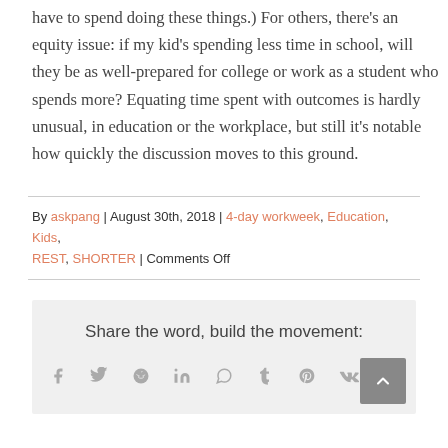have to spend doing these things.) For others, there's an equity issue: if my kid's spending less time in school, will they be as well-prepared for college or work as a student who spends more? Equating time spent with outcomes is hardly unusual, in education or the workplace, but still it's notable how quickly the discussion moves to this ground.
By askpang | August 30th, 2018 | 4-day workweek, Education, Kids, REST, SHORTER | Comments Off
Share the word, build the movement: